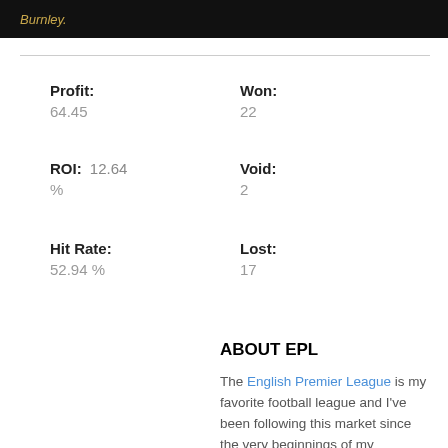Burnley.
Profit: 64.45   Won: 22
ROI: 12.64 %   Void: 2
Hit Rate: 52.94 %   Lost: 17
ABOUT EPL
The English Premier League is my favorite football league and I've been following this market since the very beginnings of my involvement in betting. I like the